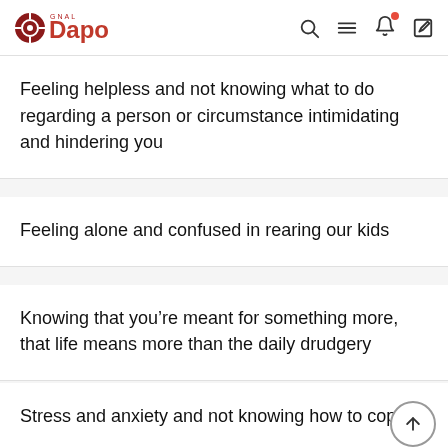Dapo
Feeling helpless and not knowing what to do regarding a person or circumstance intimidating and hindering you
Feeling alone and confused in rearing our kids
Knowing that you’re meant for something more, that life means more than the daily drudgery
Stress and anxiety and not knowing how to cope